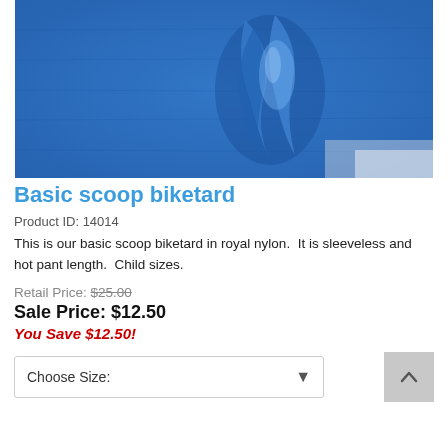[Figure (photo): Close-up photo of blue royal nylon fabric for scoop biketard, showing texture and a gathered/folded section of the material.]
Basic scoop biketard
Product ID: 14014
This is our basic scoop biketard in royal nylon.  It is sleeveless and hot pant length.  Child sizes.
Retail Price: $25.00
Sale Price: $12.50
You Save $12.50!
Choose Size: